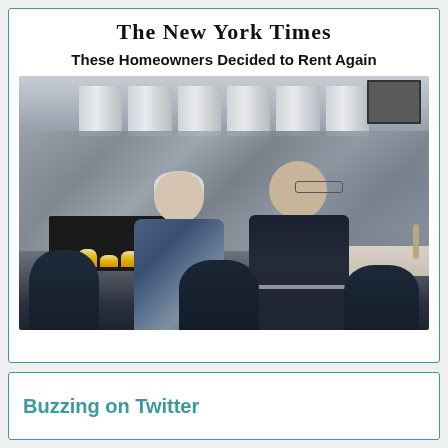The New York Times
These Homeowners Decided to Rent Again
[Figure (photo): An elderly couple, a woman with white hair in a floral top and a man in a dark tracksuit, seated together in a modern apartment common area with a marble fireplace wall, louvered panels, and dark navy chairs in the foreground.]
Buzzing on Twitter